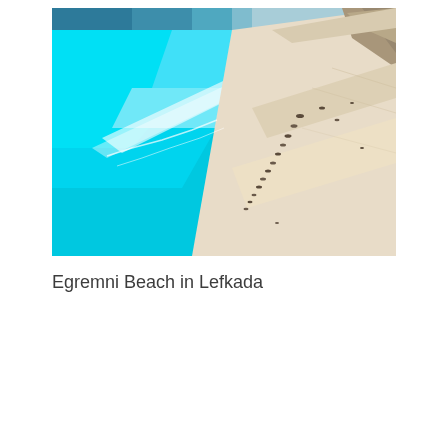[Figure (photo): Aerial view of Egremni Beach in Lefkada, Greece. The left side shows vivid turquoise-blue water meeting a long white sandy beach that extends diagonally from top-right to bottom-left. Small beach umbrellas are visible along the shoreline. Rocky cliffs are visible in the upper right corner.]
Egremni Beach in Lefkada